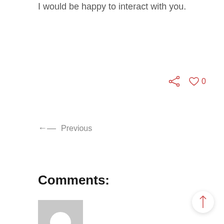I would be happy to interact with you.
[Figure (infographic): Share icon (network/share symbol) and heart/like icon with count 0, both in coral/red color]
←— Previous
Comments:
[Figure (photo): Gray placeholder avatar box with white circle in center, representing a user profile image]